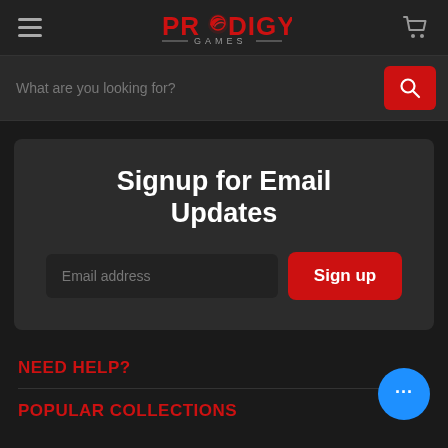Prodigy Games — navigation header with hamburger menu, logo, and cart icon
What are you looking for?
Signup for Email Updates
Email address
Sign up
NEED HELP?
POPULAR COLLECTIONS